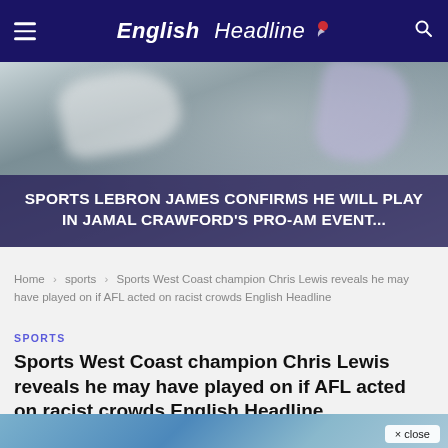English Headline
[Figure (photo): Blurred photo of sports jerseys/players used as hero image background]
SPORTS LEBRON JAMES CONFIRMS HE WILL PLAY IN JAMAL CRAWFORD'S PRO-AM EVENT...
Home > sports > Sports West Coast champion Chris Lewis reveals he may have played on if AFL acted on racist crowds English Headline
SPORTS
Sports West Coast champion Chris Lewis reveals he may have played on if AFL acted on racist crowds English Headline
written by Englishheadline • May 21, 2022 • 0 comment
[Figure (photo): Blurred sports photo at bottom of page, partially visible]